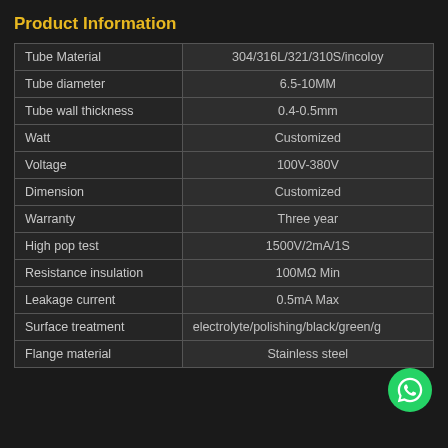Product Information
| Property | Value |
| --- | --- |
| Tube Material | 304/316L/321/310S/incoloy |
| Tube diameter | 6.5-10MM |
| Tube wall thickness | 0.4-0.5mm |
| Watt | Customized |
| Voltage | 100V-380V |
| Dimension | Customized |
| Warranty | Three year |
| High pop test | 1500V/2mA/1S |
| Resistance insulation | 100MΩ Min |
| Leakage current | 0.5mA Max |
| Surface treatment | electrolyte/polishing/black/green/g |
| Flange material | Stainless steel |